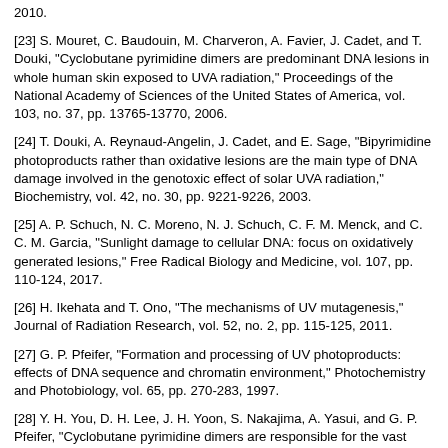2010.
[23] S. Mouret, C. Baudouin, M. Charveron, A. Favier, J. Cadet, and T. Douki, "Cyclobutane pyrimidine dimers are predominant DNA lesions in whole human skin exposed to UVA radiation," Proceedings of the National Academy of Sciences of the United States of America, vol. 103, no. 37, pp. 13765-13770, 2006.
[24] T. Douki, A. Reynaud-Angelin, J. Cadet, and E. Sage, "Bipyrimidine photoproducts rather than oxidative lesions are the main type of DNA damage involved in the genotoxic effect of solar UVA radiation," Biochemistry, vol. 42, no. 30, pp. 9221-9226, 2003.
[25] A. P. Schuch, N. C. Moreno, N. J. Schuch, C. F. M. Menck, and C. C. M. Garcia, "Sunlight damage to cellular DNA: focus on oxidatively generated lesions," Free Radical Biology and Medicine, vol. 107, pp. 110-124, 2017.
[26] H. Ikehata and T. Ono, "The mechanisms of UV mutagenesis," Journal of Radiation Research, vol. 52, no. 2, pp. 115-125, 2011.
[27] G. P. Pfeifer, "Formation and processing of UV photoproducts: effects of DNA sequence and chromatin environment," Photochemistry and Photobiology, vol. 65, pp. 270-283, 1997.
[28] Y. H. You, D. H. Lee, J. H. Yoon, S. Nakajima, A. Yasui, and G. P. Pfeifer, "Cyclobutane pyrimidine dimers are responsible for the vast majority of mutations induced by UVB irradiation in mammalian cells," The Journal of Biological Chemistry, vol. 276, no. 48, pp. 44688-44694, 2001.